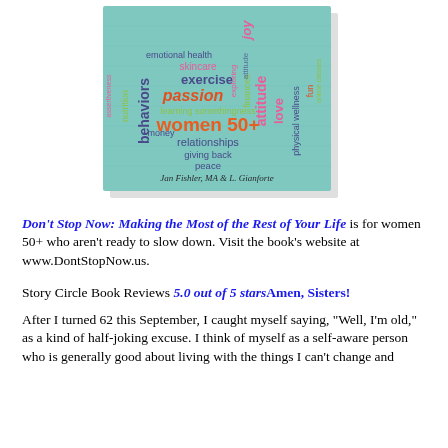[Figure (illustration): Book cover for 'Don't Stop Now: Making the Most of the Rest of Your Life' by Jan Fishler, MA & L. Gianforte. Teal/mint colored cover with a word cloud containing words like joy, emotional health, skincare, attitude, exercise, passion, behaviors, women 50+, relationships, love, physical wellness, finances, peace, giving back, nutrition, money, fun, etc. in various colors (pink, orange, blue, green, yellow).]
Don't Stop Now: Making the Most of the Rest of Your Life is for women 50+ who aren't ready to slow down. Visit the book's website at www.DontStopNow.us.
Story Circle Book Reviews 5.0 out of 5 starsAmen, Sisters!
After I turned 62 this September, I caught myself saying, "Well, I'm old," as a kind of half-joking excuse. I think of myself as a self-aware person who is generally good about living with the things I can't change and